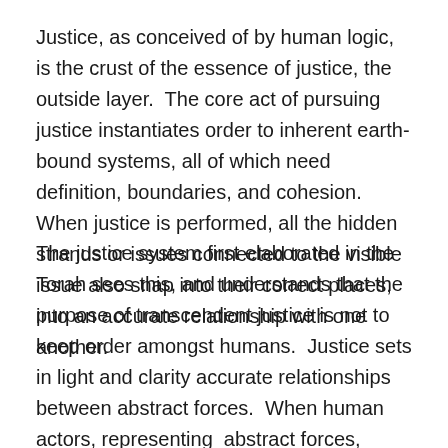Justice, as conceived of by human logic, is the crust of the essence of justice, the outside layer.  The core act of pursuing justice instantiates order to inherent earth-bound systems, all of which need definition, boundaries, and cohesion.  When justice is performed, all the hidden strands or issues connected to the visible issue also snap into their correct places, into an accurate relationship with one another.
The justice system first elaborated in the Torah sees this, and understands that the purpose of transcendent justice is not to keep order amongst humans.  Justice sets in light and clarity accurate relationships between abstract forces.  When human actors, representing  abstract forces, concretize these relationships accurately by pursuing justice, the entire system reverberates with relief.